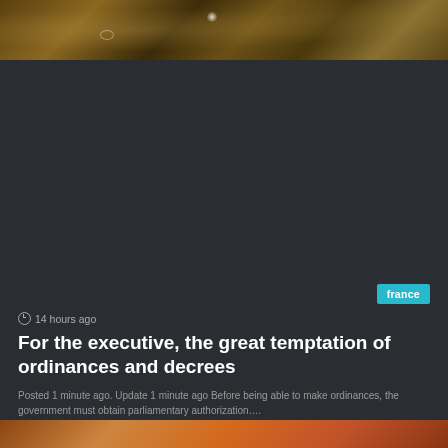[Figure (photo): Interior of an ornate building with decorative ceiling, golden architectural details, warm brown tones with a spotlight visible]
france
14 hours ago
For the executive, the great temptation of ordinances and decrees
Posted 1 minute ago. Update 1 minute ago Before being able to make ordinances, the government must obtain parliamentary authorization....
Read More »
[Figure (photo): Bottom partial image, person visible, warm tones]